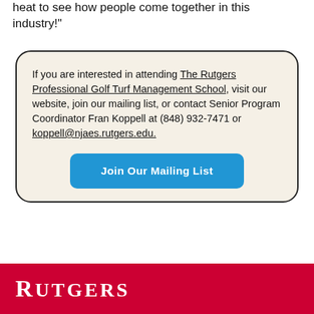heat to see how people come together in this industry!"
If you are interested in attending The Rutgers Professional Golf Turf Management School, visit our website, join our mailing list, or contact Senior Program Coordinator Fran Koppell at (848) 932-7471 or koppell@njaes.rutgers.edu.
Join Our Mailing List
RUTGERS